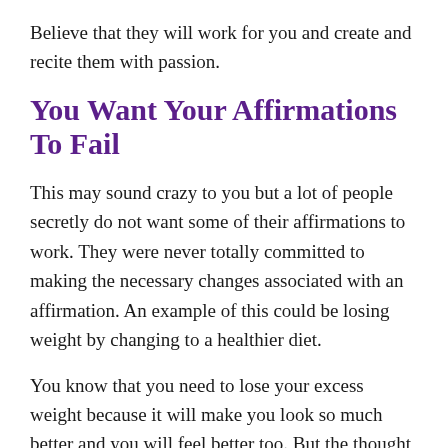Believe that they will work for you and create and recite them with passion.
You Want Your Affirmations To Fail
This may sound crazy to you but a lot of people secretly do not want some of their affirmations to work. They were never totally committed to making the necessary changes associated with an affirmation. An example of this could be losing weight by changing to a healthier diet.
You know that you need to lose your excess weight because it will make you look so much better and you will feel better too. But the thought of giving up your favorite foods to do this is not something that you are going to